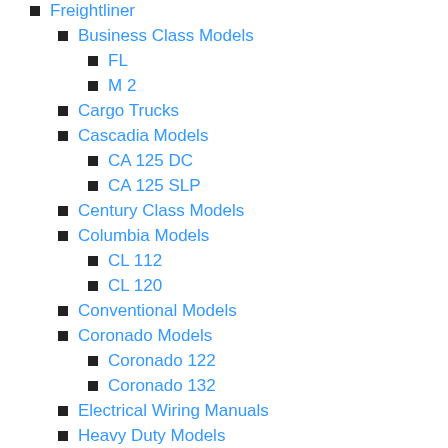Freightliner
Business Class Models
FL
M 2
Cargo Trucks
Cascadia Models
CA 125 DC
CA 125 SLP
Century Class Models
Columbia Models
CL 112
CL 120
Conventional Models
Coronado Models
Coronado 122
Coronado 132
Electrical Wiring Manuals
Heavy Duty Models
M 915 A3